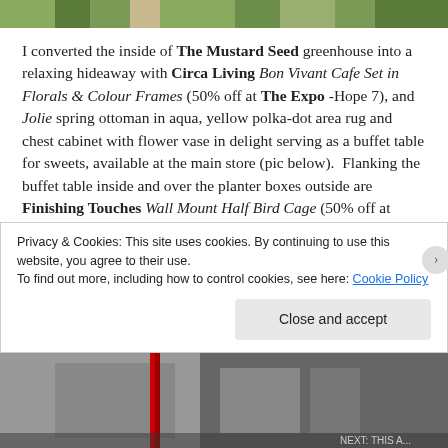[Figure (photo): Partial top image strip showing greenery/garden scene]
I converted the inside of The Mustard Seed greenhouse into a relaxing hideaway with Circa Living Bon Vivant Cafe Set in Florals & Colour Frames (50% off at The Expo -Hope 7), and Jolie spring ottoman in aqua, yellow polka-dot area rug and chest cabinet with flower vase in delight serving as a buffet table for sweets, available at the main store (pic below).  Flanking the buffet table inside and over the planter boxes outside are Finishing Touches Wall Mount Half Bird Cage (50% off at Perfect 10).  All the flowers displayed in the greenhouse in pots, milk cans or watering cans are part of the new spring garden collection from Finishing Touches available at the main store (there are
Privacy & Cookies: This site uses cookies. By continuing to use this website, you agree to their use.
To find out more, including how to control cookies, see here: Cookie Policy
Close and accept
[Figure (photo): Bottom image strip showing garden/outdoor scene with dark red element]